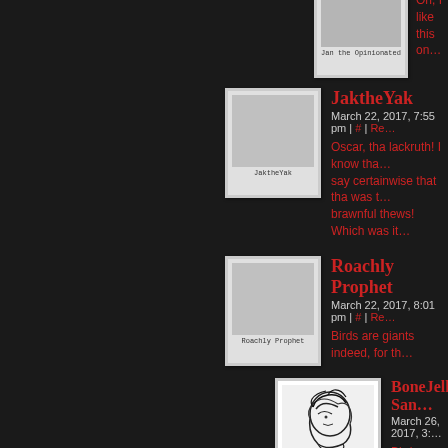[Figure (other): Partial comment avatar for Jan the Opinionated with polaroid frame, partial view at top]
Oh, I like this on…
[Figure (other): Avatar polaroid for JaktheYak]
JaktheYak
March 22, 2017, 7:55 pm | # | Re…
Oscar, tha lackruth! I know tha… say certainwise that tha was t… brawnful thews! Which was it…
[Figure (other): Avatar polaroid for Roachly Prophet]
Roachly Prophet
March 22, 2017, 8:01 pm | # | Re…
Birds are giants indeed, for th…
[Figure (illustration): Avatar for BoneJelly Sandwiches showing a stylized line drawing of a person's profile]
BoneJelly San…
March 26, 2017, 3:…
Birds WERE gia… their voices. The… world, conqueral…
[Figure (photo): Avatar polaroid for Pazuto the Chirping showing a colorful bird photo]
Pazuto the Chirping
March 22, 2017, 9:41 pm | # | Re…
BIRDS, YOU SAY?!?!?!